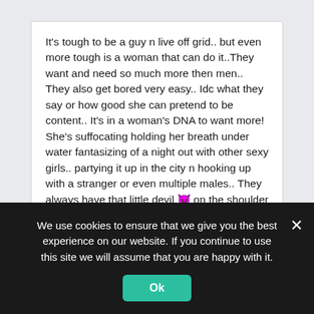It's tough to be a guy n live off grid.. but even more tough is a woman that can do it..They want and need so much more then men.. They also get bored very easy.. Idc what they say or how good she can pretend to be content.. It's in a woman's DNA to want more! She's suffocating holding her breath under water fantasizing of a night out with other sexy girls.. partying it up in the city n hooking up with a stranger or even multiple males.. They always have that little devil 😈 on the shoulder saying ur missing out! She might pretend like she's going in town for groceries one day n hop on a bus back to civilization 🚌 🚌🚌
We use cookies to ensure that we give you the best experience on our website. If you continue to use this site we will assume that you are happy with it.